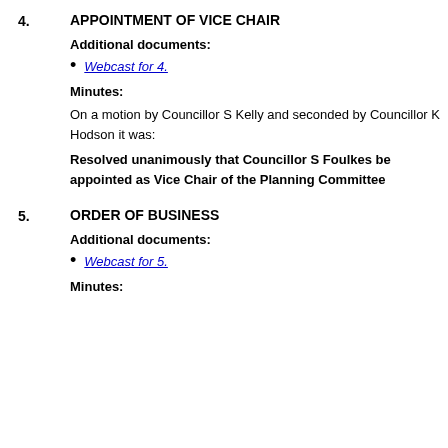4. APPOINTMENT OF VICE CHAIR
Additional documents:
Webcast for 4.
Minutes:
On a motion by Councillor S Kelly and seconded by Councillor K Hodson it was:
Resolved unanimously that Councillor S Foulkes be appointed as Vice Chair of the Planning Committee
5. ORDER OF BUSINESS
Additional documents:
Webcast for 5.
Minutes: